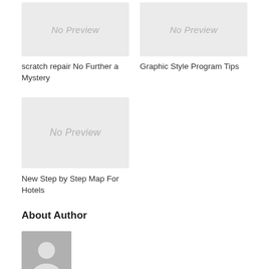[Figure (photo): No Preview placeholder image (top left)]
[Figure (photo): No Preview placeholder image (top right)]
scratch repair No Further a Mystery
Graphic Style Program Tips
[Figure (photo): No Preview placeholder image (bottom left)]
New Step by Step Map For Hotels
About Author
[Figure (photo): Avatar placeholder image with person silhouette]